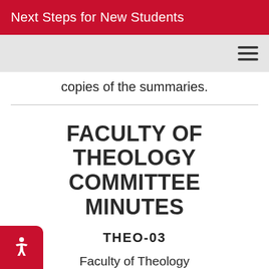Next Steps for New Students
copies of the summaries.
FACULTY OF THEOLOGY COMMITTEE MINUTES
THEO-03
Faculty of Theology Committee minutes from official decision-making